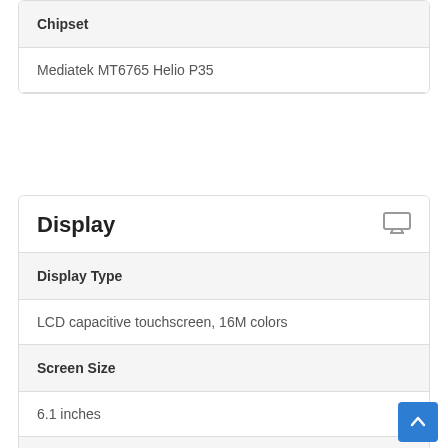| Chipset |
| --- |
| Mediatek MT6765 Helio P35 |
Display
| Display Type | Screen Size | Resolution | Aspect Ratio |
| --- | --- | --- | --- |
| LCD capacitive touchscreen, 16M colors |
| 6.1 inches |
| 720 x 1560 pixels |
| 19.5:9 ratio |